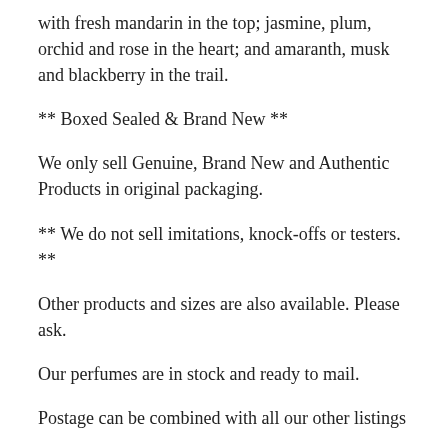with fresh mandarin in the top; jasmine, plum, orchid and rose in the heart; and amaranth, musk and blackberry in the trail.
** Boxed Sealed & Brand New **
We only sell Genuine, Brand New and Authentic Products in original packaging.
** We do not sell imitations, knock-offs or testers. **
Other products and sizes are also available. Please ask.
Our perfumes are in stock and ready to mail.
Postage can be combined with all our other listings